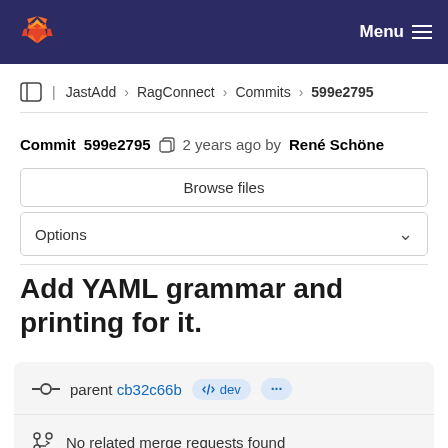GitLab Menu
JastAdd › RagConnect › Commits › 599e2795
Commit 599e2795  2 years ago by René Schöne
Browse files
Options
Add YAML grammar and printing for it.
parent cb32c66b  dev  ...
No related merge requests found